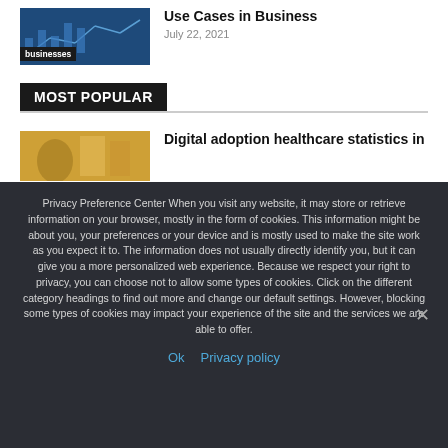[Figure (photo): Article thumbnail showing financial/business data charts with a dark blue overlay]
Use Cases in Business
July 22, 2021
MOST POPULAR
[Figure (photo): Article thumbnail with orange/yellow tones showing a person]
Digital adoption healthcare statistics in
Privacy Preference Center When you visit any website, it may store or retrieve information on your browser, mostly in the form of cookies. This information might be about you, your preferences or your device and is mostly used to make the site work as you expect it to. The information does not usually directly identify you, but it can give you a more personalized web experience. Because we respect your right to privacy, you can choose not to allow some types of cookies. Click on the different category headings to find out more and change our default settings. However, blocking some types of cookies may impact your experience of the site and the services we are able to offer.
Ok  Privacy policy